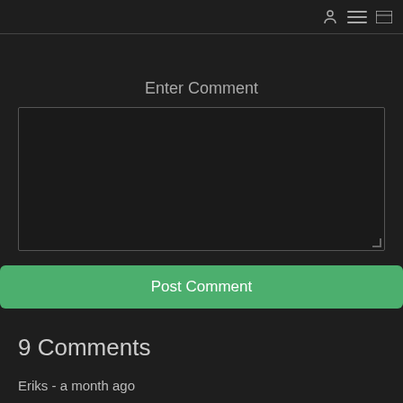Enter Comment
Post Comment
9 Comments
Eriks - a month ago